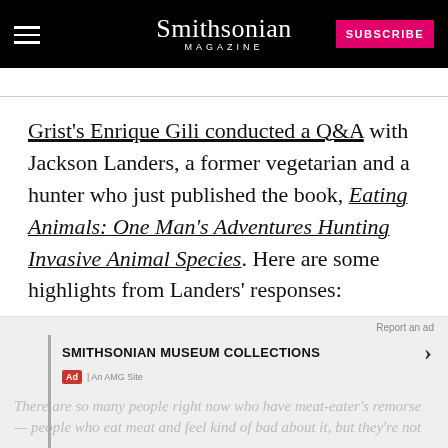Smithsonian MAGAZINE
Grist's Enrique Gili conducted a Q&A with Jackson Landers, a former vegetarian and a hunter who just published the book, Eating Animals: One Man's Adventures Hunting Invasive Animal Species. Here are some highlights from Landers' responses:
[Figure (screenshot): Ad banner for Smithsonian Museum Collections with overlay italic text about meat-eaters remorse]